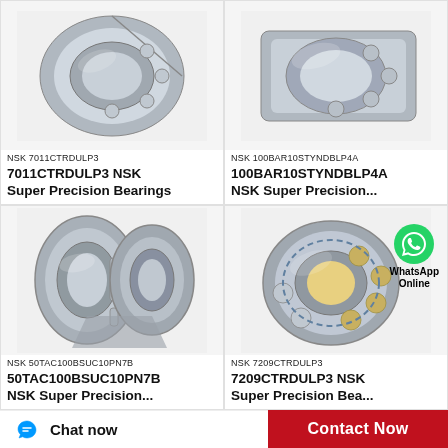[Figure (photo): NSK 7011CTRDULP3 super precision angular contact ball bearing, cutaway view showing internal components]
NSK 7011CTRDULP3
7011CTRDULP3 NSK Super Precision Bearings
[Figure (photo): NSK 100BAR10STYNDBLP4A super precision bearing, partial cutaway view]
NSK 100BAR10STYNDBLP4A
100BAR10STYNDBLP4A NSK Super Precision...
[Figure (photo): NSK 50TAC100BSUC10PN7B super precision bearings, two bearings shown side by side cutaway]
NSK 50TAC100BSUC10PN7B
50TAC100BSUC10PN7B NSK Super Precision...
[Figure (photo): NSK 7209CTRDULP3 super precision spherical roller bearing with WhatsApp Online overlay logo]
NSK 7209CTRDULP3
7209CTRDULP3 NSK Super Precision Bea...
Chat now
Contact Now